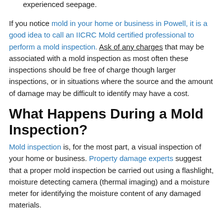basement or below-grade floor has flooded or experienced seepage.
If you notice mold in your home or business in Powell, it is a good idea to call an IICRC Mold certified professional to perform a mold inspection. Ask of any charges that may be associated with a mold inspection as most often these inspections should be free of charge though larger inspections, or in situations where the source and the amount of damage may be difficult to identify may have a cost.
What Happens During a Mold Inspection?
Mold inspection is, for the most part, a visual inspection of your home or business. Property damage experts suggest that a proper mold inspection be carried out using a flashlight, moisture detecting camera (thermal imaging) and a moisture meter for identifying the moisture content of any damaged materials.